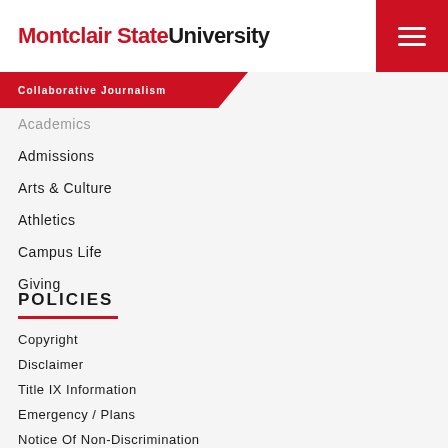Montclair State University
Collaborative Journalism
Academics
Admissions
Arts & Culture
Athletics
Campus Life
Giving
POLICIES
Copyright
Disclaimer
Title IX Information
Emergency / Plans
Notice Of Non-Discrimination
Annual Security Report